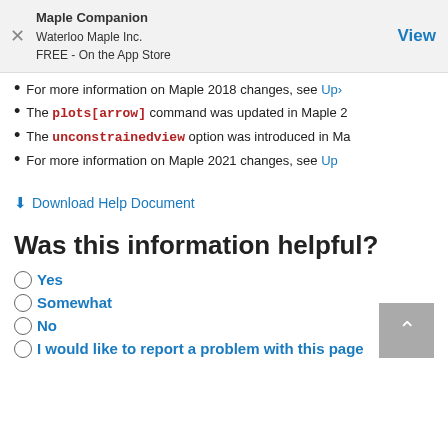Maple Companion
Waterloo Maple Inc.
FREE - On the App Store
View
For more information on Maple 2018 changes, see Up...
The plots[arrow] command was updated in Maple 2...
The unconstrainedview option was introduced in Ma...
For more information on Maple 2021 changes, see Up...
Download Help Document
Was this information helpful?
Yes
Somewhat
No
I would like to report a problem with this page